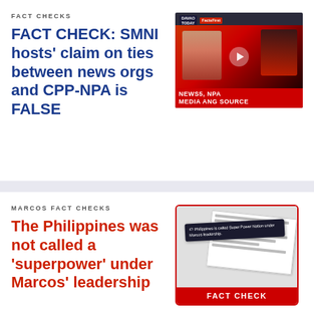FACT CHECKS
FACT CHECK: SMNI hosts' claim on ties between news orgs and CPP-NPA is FALSE
[Figure (screenshot): Screenshot of a TV broadcast showing two hosts on SMNI/Davao Today with text NEWS5, NPA MEDIA ANG SOURCE and FactsFirst logo]
MARCOS FACT CHECKS
The Philippines was not called a 'superpower' under Marcos' leadership
[Figure (screenshot): Screenshot of a social media post with a FACT CHECK label in a red-bordered card, showing text 'Philippines is called Super Power Nation under Marcos leadership']